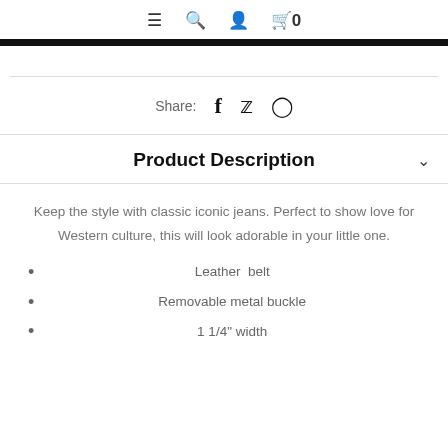≡  🔍  👤  🛒 0
Share:  f  🐦  ⊕
Product Description
Keep the style with classic iconic jeans. Perfect to show love for Western culture, this will look adorable in your little one.
Leather  belt
Removable metal buckle
1 1/4" width